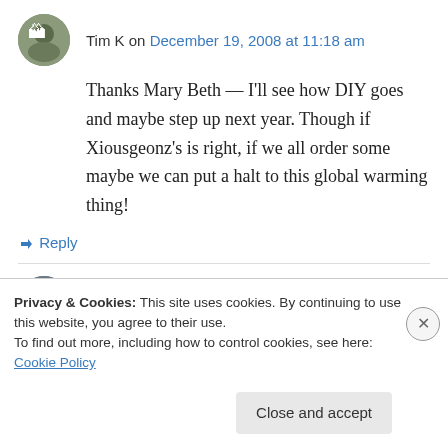Tim K on December 19, 2008 at 11:18 am
Thanks Mary Beth — I'll see how DIY goes and maybe step up next year. Though if Xiousgeonz's is right, if we all order some maybe we can put a halt to this global warming thing!
↳ Reply
Marge on December 19, 2008 at 3:05 pm
Privacy & Cookies: This site uses cookies. By continuing to use this website, you agree to their use. To find out more, including how to control cookies, see here: Cookie Policy
Close and accept